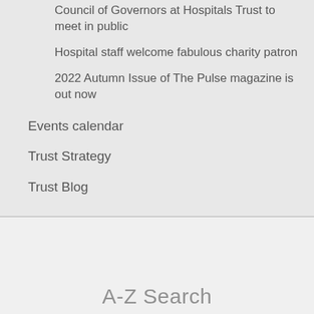Council of Governors at Hospitals Trust to meet in public
Hospital staff welcome fabulous charity patron
2022 Autumn Issue of The Pulse magazine is out now
Events calendar
Trust Strategy
Trust Blog
A-Z Search